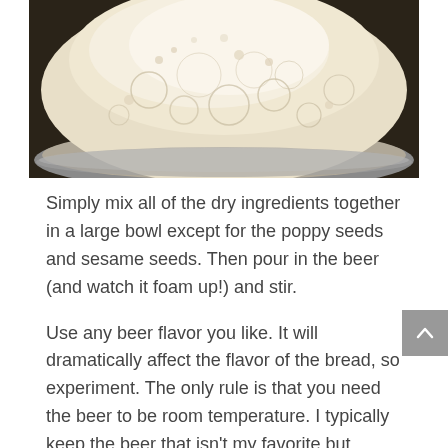[Figure (photo): Close-up photo of a foamy, bubbly mixture (beer and dry ingredients) in a large metal mixing bowl, viewed from above. The foam is white and creamy with visible bubbles.]
Simply mix all of the dry ingredients together in a large bowl except for the poppy seeds and sesame seeds. Then pour in the beer (and watch it foam up!) and stir.
Use any beer flavor you like. It will dramatically affect the flavor of the bread, so experiment. The only rule is that you need the beer to be room temperature. I typically keep the beer that isn't my favorite but somehow ended up at